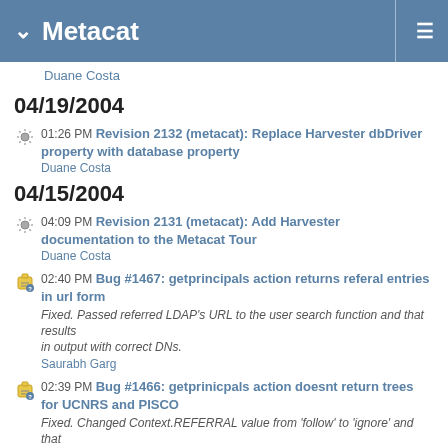Metacat
Duane Costa
04/19/2004
01:26 PM Revision 2132 (metacat): Replace Harvester dbDriver property with database property
Duane Costa
04/15/2004
04:09 PM Revision 2131 (metacat): Add Harvester documentation to the Metacat Tour
Duane Costa
02:40 PM Bug #1467: getprincipals action returns referal entries in url form
Fixed. Passed referred LDAP's URL to the user search function and that results
in output with correct DNs.
Saurabh Garg
02:39 PM Bug #1466: getprinicpals action doesnt return trees for UCNRS and PISCO
Fixed. Changed Context.REFERRAL value from 'follow' to 'ignore' and that
somehow does the job.